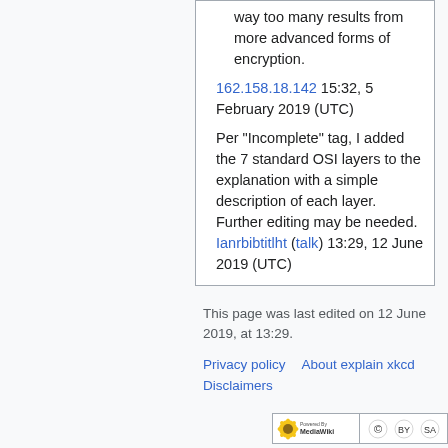way too many results from more advanced forms of encryption.
162.158.18.142 15:32, 5 February 2019 (UTC)
Per "Incomplete" tag, I added the 7 standard OSI layers to the explanation with a simple description of each layer. Further editing may be needed. Ianrbibtitlht (talk) 13:29, 12 June 2019 (UTC)
This page was last edited on 12 June 2019, at 13:29.
Privacy policy   About explain xkcd
Disclaimers